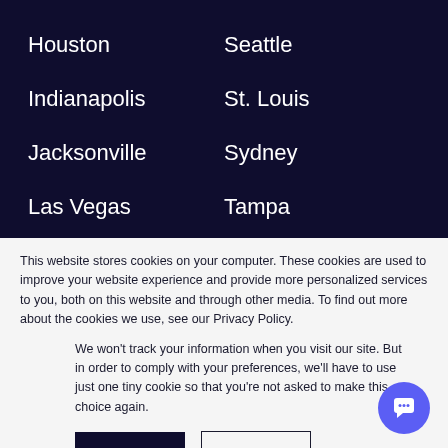Houston
Seattle
Indianapolis
St. Louis
Jacksonville
Sydney
Las Vegas
Tampa
London
Toronto
This website stores cookies on your computer. These cookies are used to improve your website experience and provide more personalized services to you, both on this website and through other media. To find out more about the cookies we use, see our Privacy Policy.
We won't track your information when you visit our site. But in order to comply with your preferences, we'll have to use just one tiny cookie so that you're not asked to make this choice again.
Accept
Decline